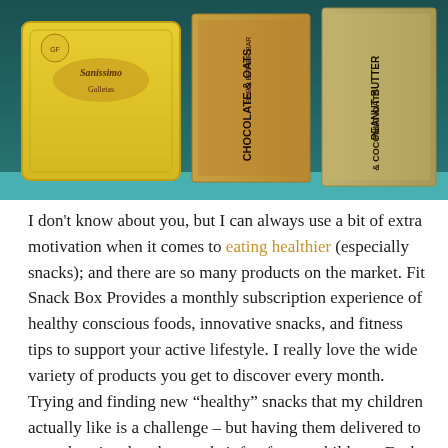[Figure (photo): Photo of a snack box containing various packaged snacks including a yellow Sanissimo crackers package, a Chocolate & Oats bar box, and a Peanut Butter Coconut Oats product, displayed against a teal/turquoise background.]
I don't know about you, but I can always use a bit of extra motivation when it comes to eating healthier (especially snacks); and there are so many products on the market. Fit Snack Box Provides a monthly subscription experience of healthy conscious foods, innovative snacks, and fitness tips to support your active lifestyle. I really love the wide variety of products you get to discover every month. Trying and finding new “healthy” snacks that my children actually like is a challenge – but having them delivered to your door in a box has made it fun for my children.  Each box has been carefully curated to bring you the newest and cleanest healthy snacks available.